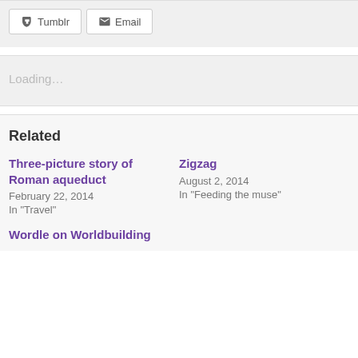Tumblr
Email
Loading…
Related
Three-picture story of Roman aqueduct
February 22, 2014
In "Travel"
Zigzag
August 2, 2014
In "Feeding the muse"
Wordle on Worldbuilding